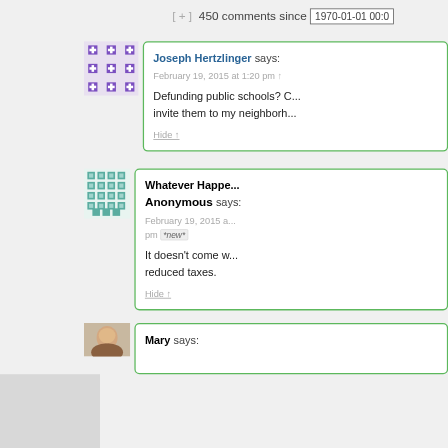[ + ] 450 comments since 1970-01-01 00:0
[Figure (illustration): Purple decorative avatar icon - geometric snowflake/cross pattern in purple on light background]
Joseph Hertzlinger says: February 19, 2015 at 1:20 pm

Defunding public schools? C... invite them to my neighborh...

Hide ↑
[Figure (illustration): Teal/green decorative avatar icon - geometric diamond/square repeating pattern on light background]
Whatever Happe... Anonymous says: February 19, 2015 a... pm *new*

It doesn't come w... reduced taxes.

Hide ↑
Mary says: